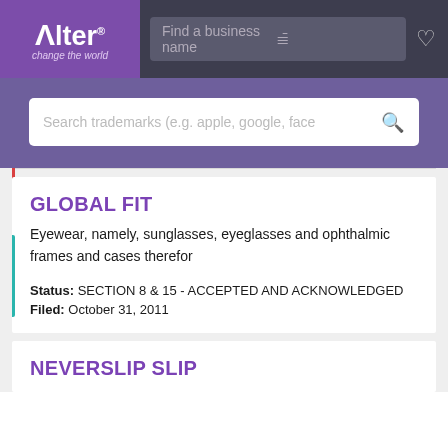[Figure (screenshot): Alter trademark search website header with purple logo box showing 'Alter change the world', a search bar saying 'Find a business name' with filter icon, and a heart icon on dark background]
[Figure (screenshot): Purple banner with white search box containing placeholder text 'Search trademarks (e.g. apple, google, face' and a search magnifier icon]
GLOBAL FIT
Eyewear, namely, sunglasses, eyeglasses and ophthalmic frames and cases therefor
Status: SECTION 8 & 15 - ACCEPTED AND ACKNOWLEDGED
Filed: October 31, 2011
NEVERSLIP SLIP